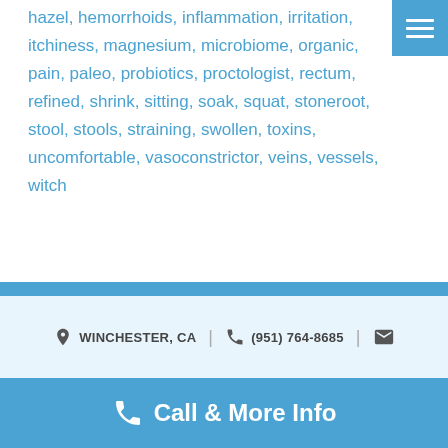hazel, hemorrhoids, inflammation, irritation, itchiness, magnesium, microbiome, organic, pain, paleo, probiotics, proctologist, rectum, refined, shrink, sitting, soak, squat, stoneroot, stool, stools, straining, swollen, toxins, uncomfortable, vasoconstrictor, veins, vessels, witch
0 Comments
READ MORE...
WINCHESTER, CA | (951) 764-8685 |
Call & More Info